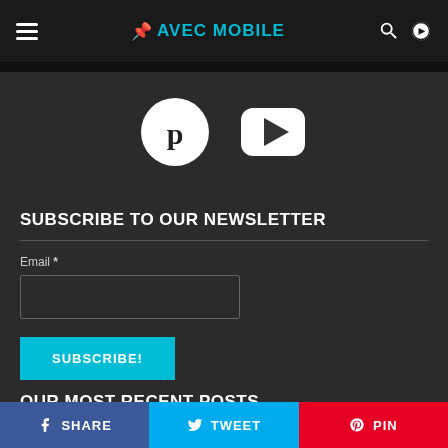≡ AVEC MOBILE 🔍 ☀
[Figure (illustration): Pinterest and YouTube social media icons on dark background]
SUBSCRIBE TO OUR NEWSLETTER
Email *
SUBSCRIBE!
OUR MOST RECENT POSTS
f SHARE  🐦 TWEET  ⊕ PIN